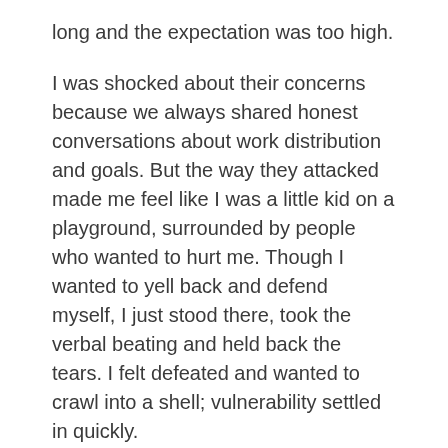long and the expectation was too high.
I was shocked about their concerns because we always shared honest conversations about work distribution and goals. But the way they attacked made me feel like I was a little kid on a playground, surrounded by people who wanted to hurt me. Though I wanted to yell back and defend myself, I just stood there, took the verbal beating and held back the tears. I felt defeated and wanted to crawl into a shell; vulnerability settled in quickly.
Then I began to re-think my leadership approach, not just for me but for the mission and the sake of the team. I determined what was working well and what needed to be changed to successfully move forward to improve our workload, interpersonal